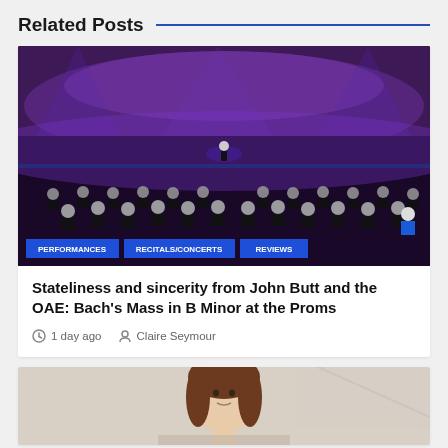Related Posts
[Figure (photo): Orchestra and choir performing on stage in a concert hall lit with purple and blue stage lighting. Musicians in black attire, conductor visible at the rear. Tags overlay at bottom: PERFORMANCES, RECITALS/CONCERTS, REVIEWS]
Stateliness and sincerity from John Butt and the OAE: Bach's Mass in B Minor at the Proms
1 day ago  Claire Seymour
[Figure (photo): Portrait photo of a person with brown hair, partially visible, cropped at bottom of page]